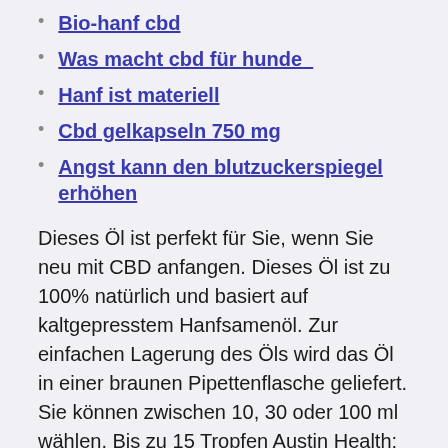Bio-hanf cbd
Was macht cbd für hunde_
Hanf ist materiell
Cbd gelkapseln 750 mg
Angst kann den blutzuckerspiegel erhöhen
Dieses Öl ist perfekt für Sie, wenn Sie neu mit CBD anfangen. Dieses Öl ist zu 100% natürlich und basiert auf kaltgepresstem Hanfsamenöl. Zur einfachen Lagerung des Öls wird das Öl in einer braunen Pipettenflasche geliefert. Sie können zwischen 10, 30 oder 100 ml wählen. Bis zu 15 Tropfen Austin Health: Community Team Austin Health acknowledges the Traditional Custodians of the land and pay our respects to Elders past, present and emerging. We celebrate,